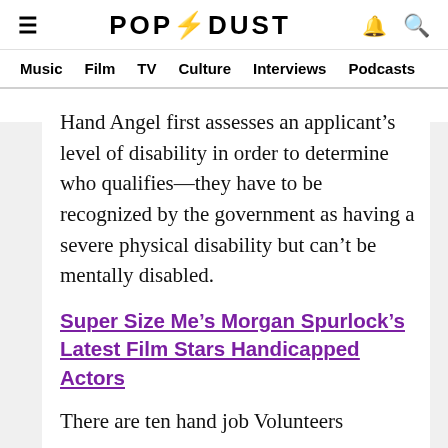≡ POP⚡DUST 🔔 🔍
Music  Film  TV  Culture  Interviews  Podcasts
Hand Angel first assesses an applicant's level of disability in order to determine who qualifies—they have to be recognized by the government as having a severe physical disability but can't be mentally disabled.
Super Size Me's Morgan Spurlock's Latest Film Stars Handicapped Actors
There are ten hand job Volunteers